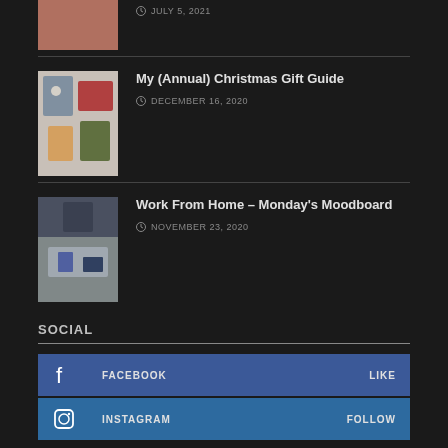[Figure (photo): Partial thumbnail of person in pink top, cropped at top]
JULY 5, 2021
[Figure (photo): Thumbnail of Christmas gift guide items including bag and decorations]
My (Annual) Christmas Gift Guide
DECEMBER 16, 2020
[Figure (photo): Thumbnail of person working from home at desk]
Work From Home – Monday's Moodboard
NOVEMBER 23, 2020
SOCIAL
FACEBOOK LIKE
INSTAGRAM FOLLOW